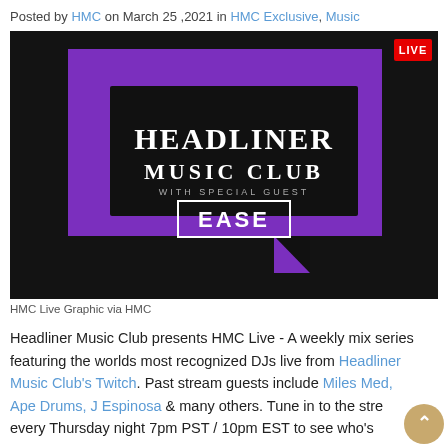Posted by HMC on March 25 ,2021 in HMC Exclusive, Music
[Figure (photo): Headliner Music Club HMC Live graphic showing the Twitch logo shape in purple on dark background, with text 'HEADLINER MUSIC CLUB WITH SPECIAL GUEST EASE' and a red LIVE badge in top right corner.]
HMC Live Graphic via HMC
Headliner Music Club presents HMC Live - A weekly mix series featuring the worlds most recognized DJs live from Headliner Music Club's Twitch. Past stream guests include Miles Med, Ape Drums, J Espinosa & many others. Tune in to the stre every Thursday night 7pm PST / 10pm EST to see who's